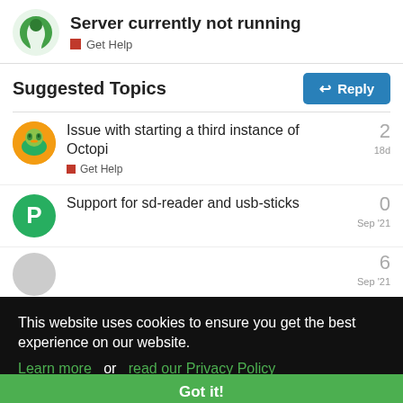Server currently not running — Get Help
Suggested Topics
Reply
Issue with starting a third instance of Octopi
Get Help
2
18d
Support for sd-reader and usb-sticks
0
Sep '21
6
Sep '21
1
Jun 14
This website uses cookies to ensure you get the best experience on our website. Learn more or read our Privacy Policy
Got it!
Native conky interface to octo